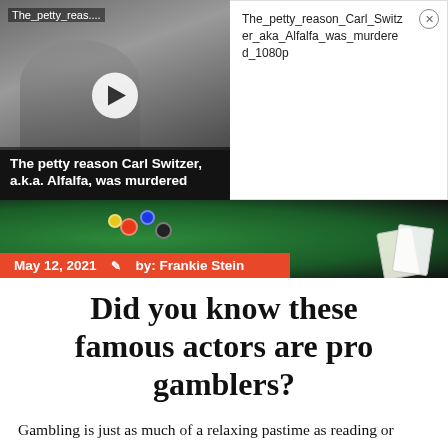[Figure (screenshot): Video thumbnail in grayscale showing two people, with play button overlay and title 'The petty reason Carl Switzer, a.k.a. Alfalfa, was murdered'. Label at top: 'The_petty_reas...']
The_petty_reason_Carl_Switzer_aka_Alfalfa_was_murdered_1080p
[Figure (photo): Casino gambling table with green felt, cards and chips visible, with red byline bar showing 'May 12, 2021  by: Frankie Stein']
Did you know these famous actors are pro gamblers?
Gambling is just as much of a relaxing pastime as reading or painting. For some people, spinning the roulette wheel or betting on major horse